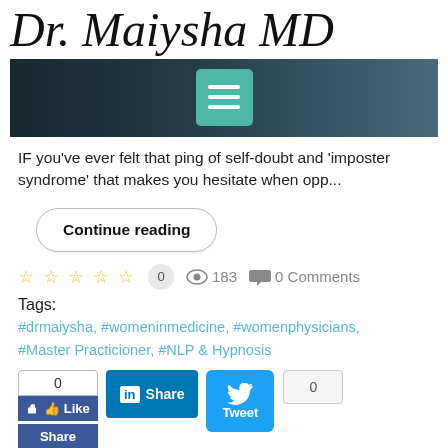Dr. Maiysha MD
[Figure (screenshot): Dark hero image with teal hamburger menu button overlay]
IF you've ever felt that ping of self-doubt and 'imposter syndrome' that makes you hesitate when opp...
Continue reading
☆☆☆☆☆  0   👁 183   💬 0 Comments
Tags:
#drmaiysha, #womeninmedicine, #womenphysicians, #Master Practicioner, #NLP & Hypnosis
0  👍 Like  Share  in Share  Tweet  0